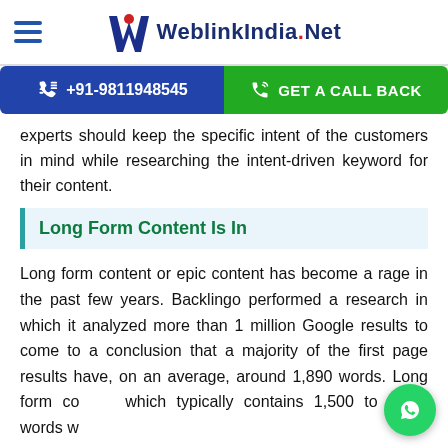WeblinkIndia.Net
+91-9811948545   GET A CALL BACK
experts should keep the specific intent of the customers in mind while researching the intent-driven keyword for their content.
Long Form Content Is In
Long form content or epic content has become a rage in the past few years. Backlingo performed a research in which it analyzed more than 1 million Google results to come to a conclusion that a majority of the first page results have, on an average, around 1,890 words. Long form content which typically contains 1,500 to 2,500 words will be the center of focus of the SEO experts while